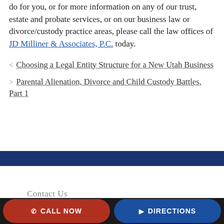do for you, or for more information on any of our trust, estate and probate services, or on our business law or divorce/custody practice areas, please call the law offices of JD Milliner & Associates, P.C. today.
< Choosing a Legal Entity Structure for a New Utah Business
> Parental Alienation, Divorce and Child Custody Battles, Part 1
Contact Us
CALL NOW   DIRECTIONS